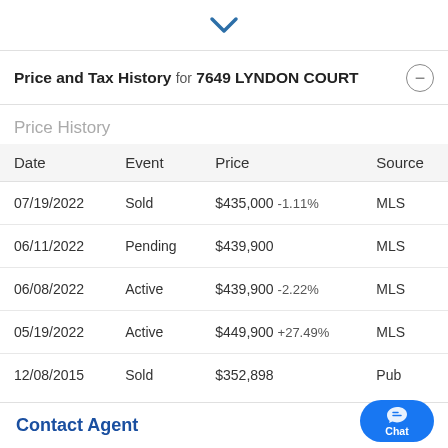Price and Tax History for 7649 LYNDON COURT
Price History
| Date | Event | Price | Source |
| --- | --- | --- | --- |
| 07/19/2022 | Sold | $435,000 -1.11% | MLS |
| 06/11/2022 | Pending | $439,900 | MLS |
| 06/08/2022 | Active | $439,900 -2.22% | MLS |
| 05/19/2022 | Active | $449,900 +27.49% | MLS |
| 12/08/2015 | Sold | $352,898 | Pub... |
Contact Agent